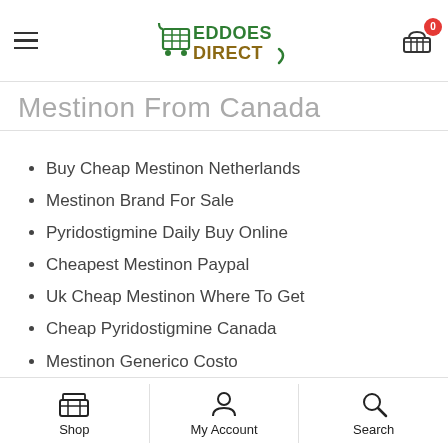Eddoes Direct - header with logo, hamburger menu, cart
Mestinon From Canada
Buy Cheap Mestinon Netherlands
Mestinon Brand For Sale
Pyridostigmine Daily Buy Online
Cheapest Mestinon Paypal
Uk Cheap Mestinon Where To Get
Cheap Pyridostigmine Canada
Mestinon Generico Costo
eddoes.co.uk
3HHDFO3
Shop | My Account | Search